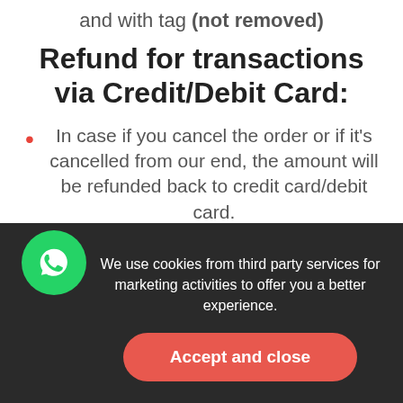and with tag (not removed)
Refund for transactions via Credit/Debit Card:
In case if you cancel the order or if it's cancelled from our end, the amount will be refunded back to credit card/debit card.
If you cancel the order, products which are shipped but not delivered, you will receive a
We use cookies from third party services for marketing activities to offer you a better experience.
Accept and close